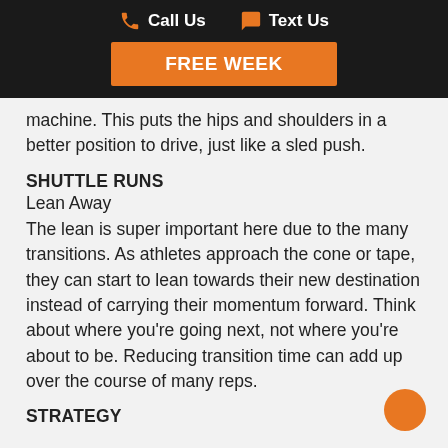Call Us   Text Us   FREE WEEK
machine. This puts the hips and shoulders in a better position to drive, just like a sled push.
SHUTTLE RUNS
Lean Away
The lean is super important here due to the many transitions. As athletes approach the cone or tape, they can start to lean towards their new destination instead of carrying their momentum forward. Think about where you’re going next, not where you’re about to be. Reducing transition time can add up over the course of many reps.
STRATEGY